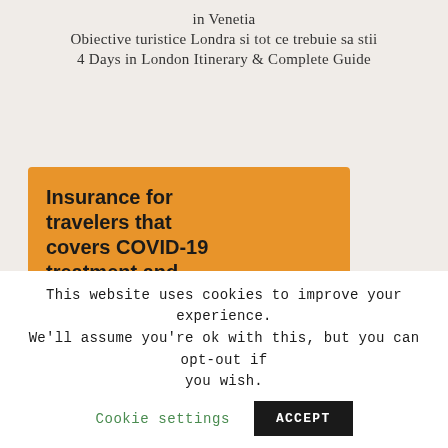in Venetia
Obiective turistice Londra si tot ce trebuie sa stii
4 Days in London Itinerary & Complete Guide
[Figure (illustration): Orange advertisement banner for travel insurance covering COVID-19 treatment and unexpected quarantine, featuring a sick cartoon bird in bed with a thermometer, price starting at $40]
This website uses cookies to improve your experience. We'll assume you're ok with this, but you can opt-out if you wish. Cookie settings ACCEPT